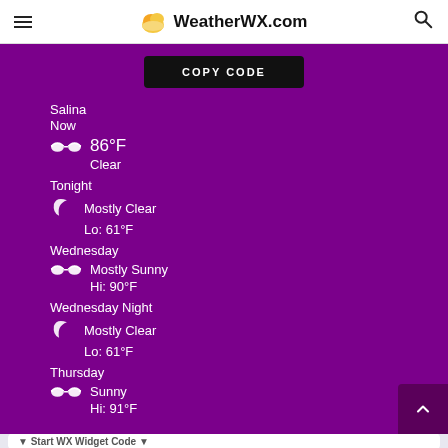WeatherWX.com
COPY CODE
Salina
Now
86°F
Clear
Tonight
Mostly Clear
Lo: 61°F
Wednesday
Mostly Sunny
Hi: 90°F
Wednesday Night
Mostly Clear
Lo: 61°F
Thursday
Sunny
Hi: 91°F
Start WX Widget Code